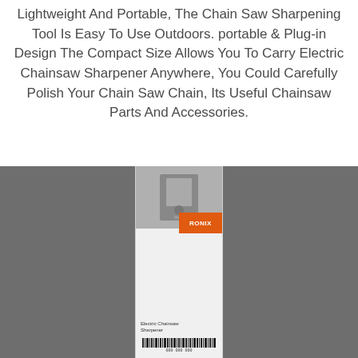Lightweight And Portable, The Chain Saw Sharpening Tool Is Easy To Use Outdoors. portable & Plug-in Design The Compact Size Allows You To Carry Electric Chainsaw Sharpener Anywhere, You Could Carefully Polish Your Chain Saw Chain, Its Useful Chainsaw Parts And Accessories.
[Figure (photo): A product box for an electric chainsaw sharpener placed vertically on a dark gray textured surface. The box is white/light gray with an orange brand label near the top right. The top of the box shows a small product image. Small text and a barcode are visible at the bottom of the box.]